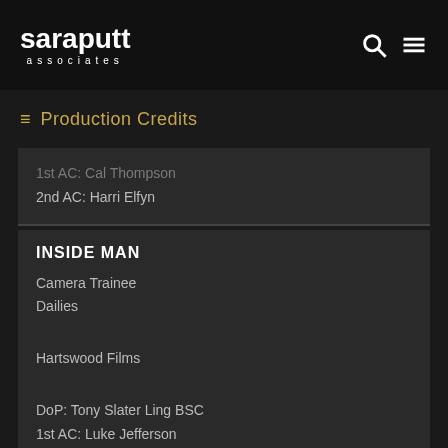saraputt associates
Production Credits
1st AC: Cal Thompson
2nd AC: Harri Elfyn
INSIDE MAN
Camera Trainee
Dailies
Hartswood Films
DoP: Tony Slater Ling BSC
1st AC: Luke Jefferson
2nd AC: Cassie Stone